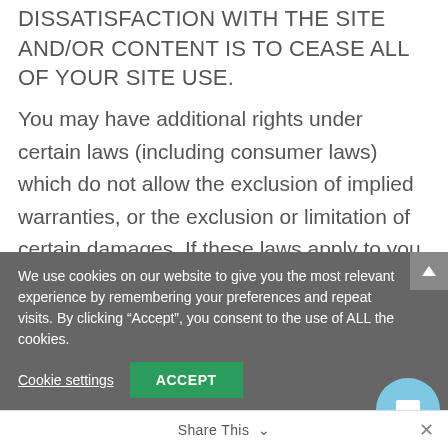DISSATISFACTION WITH THE SITE AND/OR CONTENT IS TO CEASE ALL OF YOUR SITE USE.
You may have additional rights under certain laws (including consumer laws) which do not allow the exclusion of implied warranties, or the exclusion or limitation of certain damages. If these laws apply to you, the exclusions or limitations in this Agreement that directly conflict with such laws may not apply to you.
11. Use of Information. Shift Fillers, LLC
We use cookies on our website to give you the most relevant experience by remembering your preferences and repeat visits. By clicking “Accept”, you consent to the use of ALL the cookies.
Cookie settings
ACCEPT
Share This